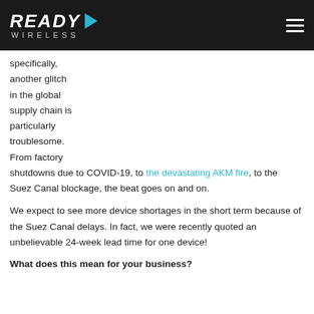[Figure (logo): Ready Wireless logo on dark header bar with hamburger menu icon]
specifically, another glitch in the global supply chain is particularly troublesome. From factory shutdowns due to COVID-19, to the devastating AKM fire, to the Suez Canal blockage, the beat goes on and on.
We expect to see more device shortages in the short term because of the Suez Canal delays. In fact, we were recently quoted an unbelievable 24-week lead time for one device!
What does this mean for your business?